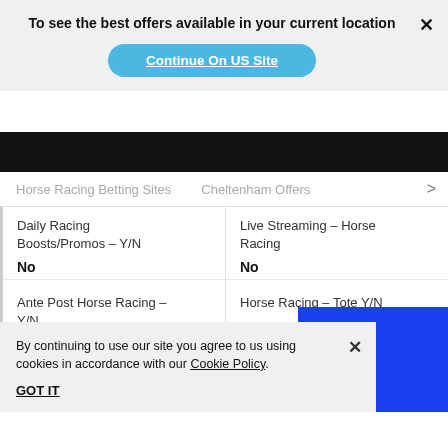To see the best offers available in your current location
Continue On US Site
Horse Racing Betting Sites   Cheltenham Offers   >
| Daily Racing Boosts/Promos - Y/N | Live Streaming - Horse Racing |
| --- | --- |
| No | No |
| Ante Post Horse Racing - Y/N | Horse Racing - Tote Y/N |
| --- | --- |
| Yes | No |
By continuing to use our site you agree to us using cookies in accordance with our Cookie Policy.
GOT IT